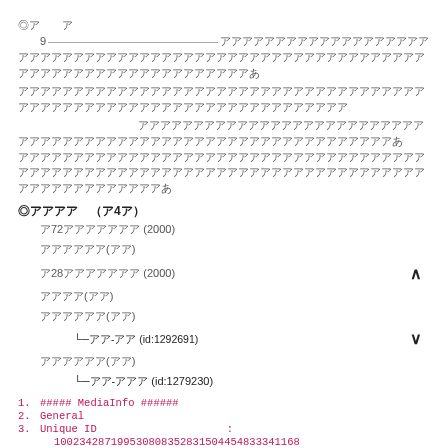◎ア　　ア
　9アアアアアアアアアアアアアア──アアアアアアアアアアアアアアアアアアアアアアアアアアアアアアアアアアアアアアアアアアアアアアアアアアアアアアアアアアアアアアアアアアアアアアアアアアアアアアアアアアアアアアアアアアアアアアアア
アアアアアアアアアアアアアアアアアアアアアアアアアアアアアアアアアアアアアアアアアアアアアアアアアアアアアアアアアアアアアアアアアアアアアアアアアアアアアア
アアアアアアアアアアアアアアアアアアアアアアアアアアアアアアアアアアアアアアアアアアアアアアアアアアアアアアアアアアアアアアアアアアアアアアアアアアアアアアアアアアアアアアアアアアアアアアアアアアアアアアアアアアアアアアアアアアアアア
◎アアアア　（ア4ア）
ア72アアアアアアア (2000)
アアアアアア(アア)
ア28アアアアアアア (2000)
アアアア(アア)
アアアアアア(アア)
└─アア-アア (id:1292691)
アアアアアア(アア)
└─アア-アアア (id:1279230)
1.  ##### MediaInfo ######
2.  General
3.  Unique ID                                        :
100234287199530808352831504454833341168
(0x4B686BE88CEBFEB599A7CEC3A7EE02E0)